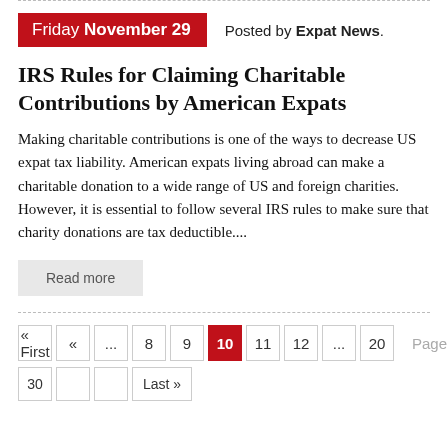Friday November 29   Posted by Expat News.
IRS Rules for Claiming Charitable Contributions by American Expats
Making charitable contributions is one of the ways to decrease US expat tax liability. American expats living abroad can make a charitable donation to a wide range of US and foreign charities. However, it is essential to follow several IRS rules to make sure that charity donations are tax deductible....
Read more
« First  «  ...  8  9  10  11  12  ...  20   Page 10 of 36